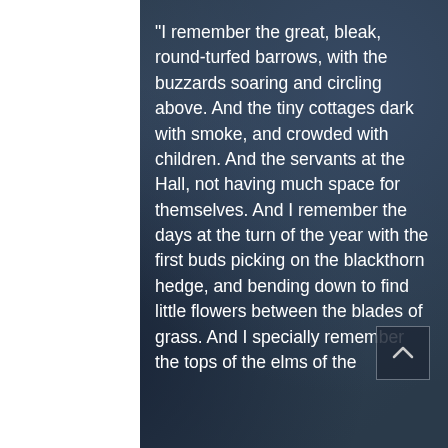“I remember the great, bleak, round-turfed barrows, with the buzzards soaring and circling above. And the tiny cottages dark with smoke, and crowded with children. And the servants at the Hall, not having much space for themselves. And I remember the days at the turn of the year with the first buds picking on the blackthorn hedge, and bending down to find little flowers between the blades of grass. And I specially remember the tops of the elms of the